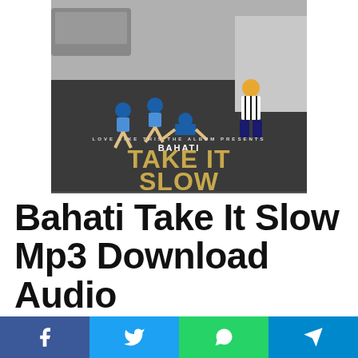[Figure (photo): Album art for Bahati 'Take It Slow' showing dancers on a street with bold text overlay reading 'LOVE LIKE THIS THE ALBUM PRESENTS / BAHATI / TAKE IT SLOW']
Bahati Take It Slow Mp3 Download Audio
Here is one of the best submissions we received today and it's